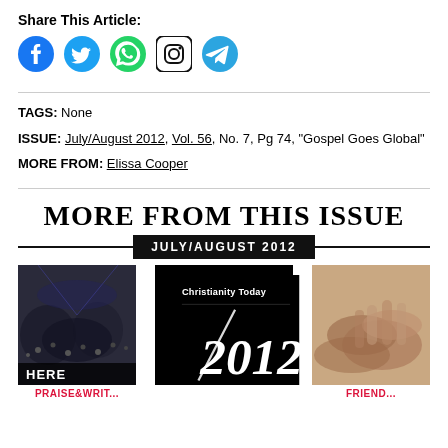Share This Article:
[Figure (illustration): Social media share icons: Facebook (blue circle), Twitter (blue bird), WhatsApp (green circle), Instagram (black square outline), Telegram (blue circle with arrow)]
TAGS: None
ISSUE: July/August 2012, Vol. 56, No. 7, Pg 74, "Gospel Goes Global"
MORE FROM: Elissa Cooper
MORE FROM THIS ISSUE
JULY/AUGUST 2012
[Figure (photo): Dark image of a crowd at an event with text overlay reading 'HERE']
[Figure (illustration): Christianity Today magazine cover for 2012, black background with white text showing 'Christianity Today' and '2012' in large italic serif font with a diagonal slash]
[Figure (photo): Sepia-toned close-up photo of hands, partially cropped]